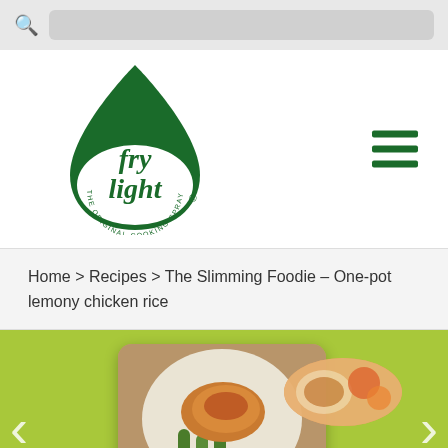[Figure (logo): Fry Light – The Original Cooking Spray logo: green teardrop shape with 'fry light' text inside]
Home > Recipes > The Slimming Foodie – One-pot lemony chicken rice
[Figure (photo): Image carousel on green background showing a plate of chicken with green vegetables on a checkered cloth, and a partially visible second image on the right]